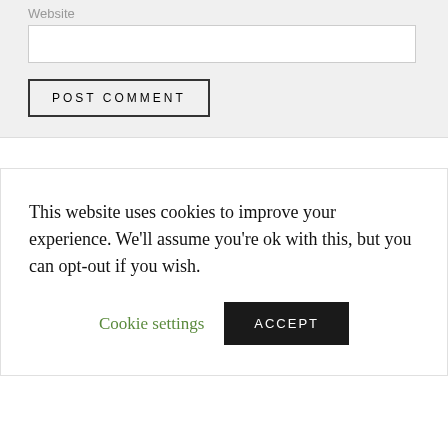Website
POST COMMENT
This website uses cookies to improve your experience. We'll assume you're ok with this, but you can opt-out if you wish.
Cookie settings
ACCEPT